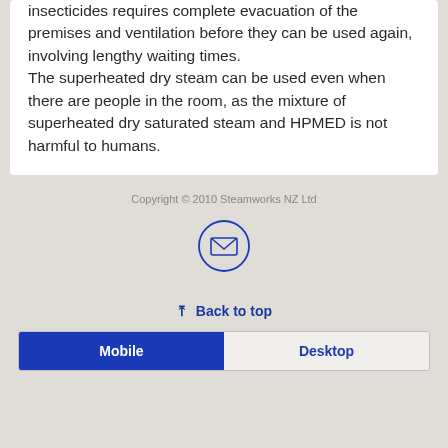In addition, disinfestation with conventional chemical insecticides requires complete evacuation of the premises and ventilation before they can be used again, involving lengthy waiting times. The superheated dry steam can be used even when there are people in the room, as the mixture of superheated dry saturated steam and HPMED is not harmful to humans.
Copyright © 2010 Steamworks NZ Ltd
[Figure (illustration): Email envelope icon inside a circle, outlined in dark blue]
Back to top
Mobile  Desktop